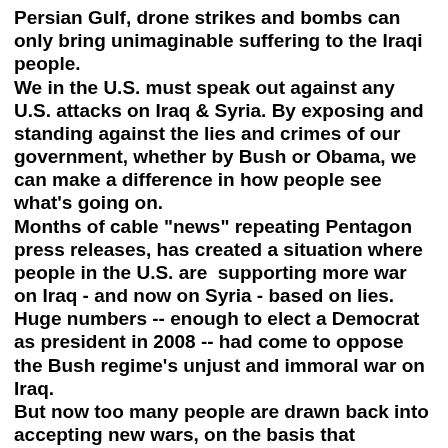Persian Gulf, drone strikes and bombs can only bring unimaginable suffering to the Iraqi people. We in the U.S. must speak out against any U.S. attacks on Iraq & Syria. By exposing and standing against the lies and crimes of our government, whether by Bush or Obama, we can make a difference in how people see what's going on. Months of cable "news" repeating Pentagon press releases, has created a situation where people in the U.S. are  supporting more war on Iraq - and now on Syria - based on lies.   Huge numbers -- enough to elect a Democrat as president in 2008 -- had come to oppose the Bush regime's unjust and immoral war on Iraq. But now too many people are drawn back into accepting new wars, on the basis that "something has to be done about ISIS." The Islamic State (ISIS or ISIL) is both a response to U.S. occupation of the region, and also literally, in some cases, was created by torture in U.S. prisons in Iraq; by billions of dollars in U.S. arms strewn about the region; and funded by close U.S. allies Saudi Arabia, Turkey and Qatar, societies where people also have scarcely any